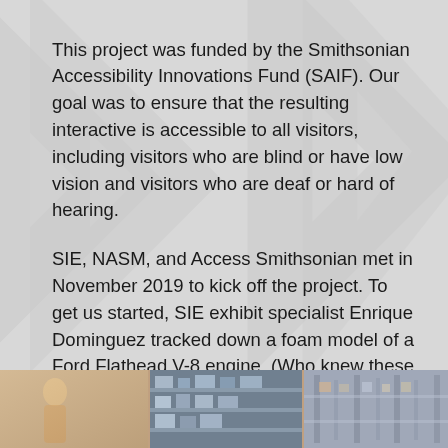This project was funded by the Smithsonian Accessibility Innovations Fund (SAIF). Our goal was to ensure that the resulting interactive is accessible to all visitors, including visitors who are blind or have low vision and visitors who are deaf or hard of hearing.
SIE, NASM, and Access Smithsonian met in November 2019 to kick off the project. To get us started, SIE exhibit specialist Enrique Dominguez tracked down a foam model of a Ford Flathead V-8 engine. (Who knew these things existed?)
[Figure (photo): A horizontal strip of photographs at the bottom of the page showing three scenes side by side.]